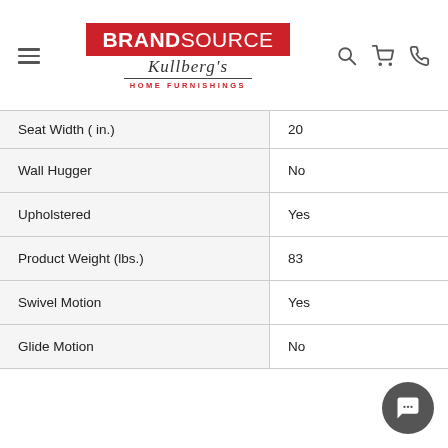BrandSource Kullberg's Home Furnishings — navigation header
| Attribute | Value |
| --- | --- |
| Seat Width ( in.) | 20 |
| Wall Hugger | No |
| Upholstered | Yes |
| Product Weight (lbs.) | 83 |
| Swivel Motion | Yes |
| Glide Motion | No |